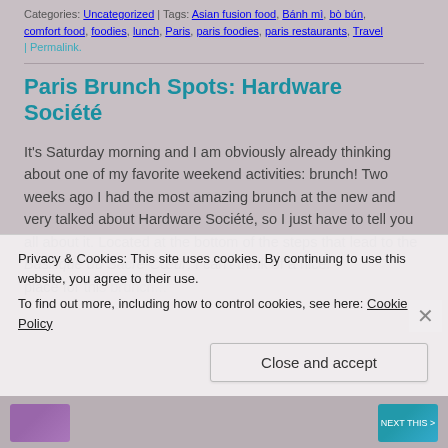Categories: Uncategorized | Tags: Asian fusion food, Bánh mì, bò bún, comfort food, foodies, lunch, Paris, paris foodies, paris restaurants, Travel | Permalink.
Paris Brunch Spots: Hardware Société
It's Saturday morning and I am obviously already thinking about one of my favorite weekend activities: brunch! Two weeks ago I had the most amazing brunch at the new and very talked about Hardware Société, so I just have to tell you all about it. Located at the bottom of the steps that lead to the Basilique du Sacré-Cœur, I can't think of a nicer place for this brunch...
Privacy & Cookies: This site uses cookies. By continuing to use this website, you agree to their use.
To find out more, including how to control cookies, see here: Cookie Policy